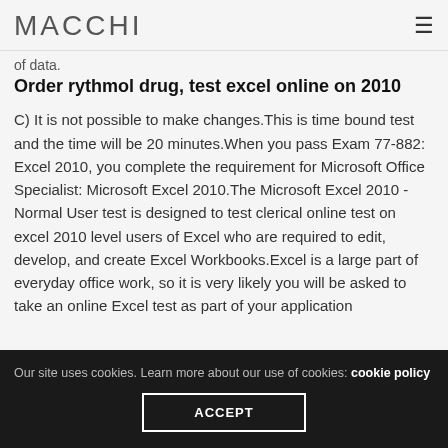MACCHI
of data.
Order rythmol drug, test excel online on 2010
C) It is not possible to make changes.This is time bound test and the time will be 20 minutes.When you pass Exam 77-882: Excel 2010, you complete the requirement for Microsoft Office Specialist: Microsoft Excel 2010.The Microsoft Excel 2010 - Normal User test is designed to test clerical online test on excel 2010 level users of Excel who are required to edit, develop, and create Excel Workbooks.Excel is a large part of everyday office work, so it is very likely you will be asked to take an online Excel test as part of your application
Our site uses cookies. Learn more about our use of cookies: cookie policy
ACCEPT